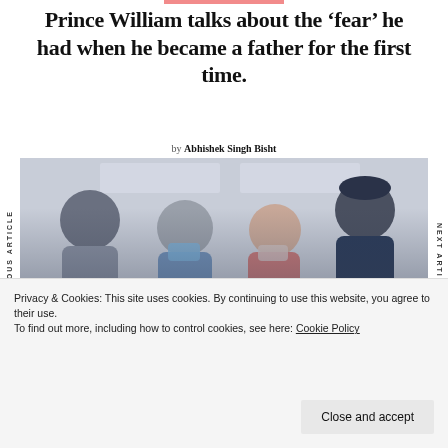Prince William talks about the ‘fear’ he had when he became a father for the first time.
by Abhishek Singh Bisht
PREVIOUS ARTICLE
NEXT ARTICLE
[Figure (photo): Prince William and Kate Middleton wearing face masks, speaking with two other people indoors, likely during a visit]
Privacy & Cookies: This site uses cookies. By continuing to use this website, you agree to their use.
To find out more, including how to control cookies, see here: Cookie Policy